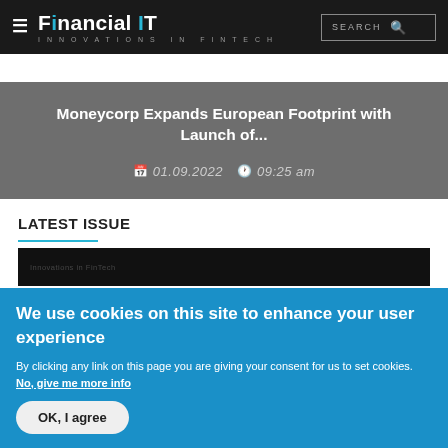Financial IT — Innovations in FinTech
Moneycorp Expands European Footprint with Launch of...
01.09.2022  09:25 am
LATEST ISSUE
[Figure (screenshot): Dark image strip preview of latest issue]
We use cookies on this site to enhance your user experience
By clicking any link on this page you are giving your consent for us to set cookies. No, give me more info
OK, I agree